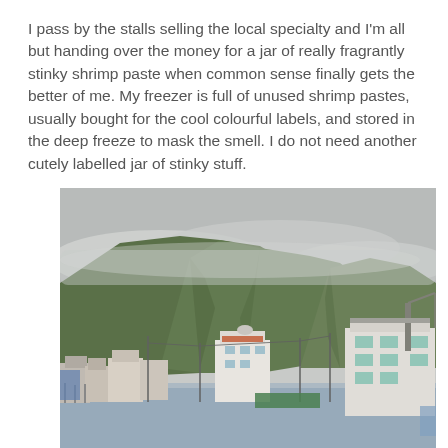I pass by the stalls selling the local specialty and I'm all but handing over the money for a jar of really fragrantly stinky shrimp paste when common sense finally gets the better of me. My freezer is full of unused shrimp pastes, usually bought for the cool colourful labels, and stored in the deep freeze to mask the smell. I do not need another cutely labelled jar of stinky stuff.
[Figure (photo): A coastal village scene with low-rise white buildings and utility structures in the foreground, and large green hills/mountains partially covered by low clouds and mist in the background. The sky is overcast grey. The village appears to be a fishing community with stilt structures visible near the waterfront.]